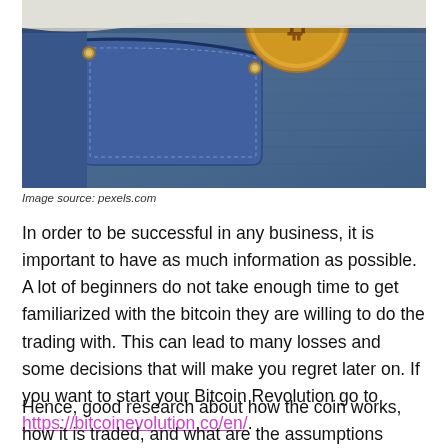[Figure (photo): A gold Bitcoin coin sticking out of the front pocket of blue denim jeans laid on a white fabric background.]
Image source: pexels.com
In order to be successful in any business, it is important to have as much information as possible. A lot of beginners do not take enough time to get familiarized with the bitcoin they are willing to do the trading with. This can lead to many losses and some decisions that will make you regret later on. If you want to start your Bitcoin Revolution go to https://bitcoinevolution.co/en/.
Hence, good research about how the coin works, how it is traded, and what are the assumptions about it will help you